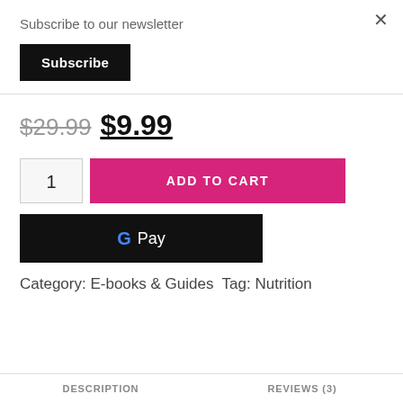×
Subscribe to our newsletter
Subscribe
$29.99  $9.99
[Figure (screenshot): Quantity input box showing 1, pink ADD TO CART button]
[Figure (screenshot): Google Pay button (black background with G Pay logo)]
Category: E-books & Guides Tag: Nutrition
DESCRIPTION   REVIEWS (3)